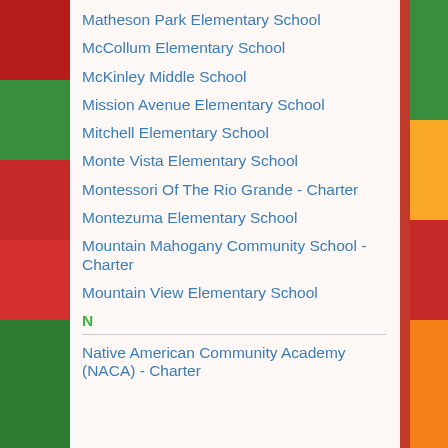Matheson Park Elementary School
McCollum Elementary School
McKinley Middle School
Mission Avenue Elementary School
Mitchell Elementary School
Monte Vista Elementary School
Montessori Of The Rio Grande - Charter
Montezuma Elementary School
Mountain Mahogany Community School - Charter
Mountain View Elementary School
N
Native American Community Academy (NACA) - Charter